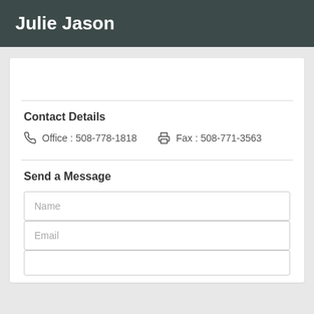Julie Jason
Contact Details
Office : 508-778-1818   Fax : 508-771-3563
Send a Message
Name
Email